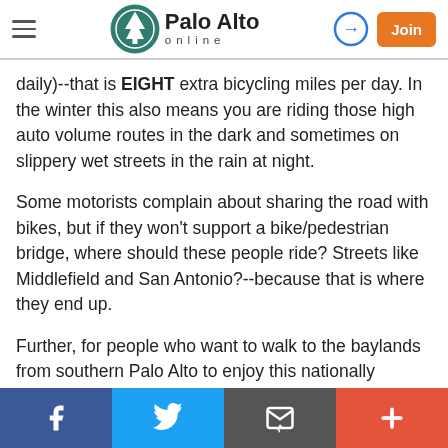Palo Alto Online
daily)--that is EIGHT extra bicycling miles per day. In the winter this also means you are riding those high auto volume routes in the dark and sometimes on slippery wet streets in the rain at night.
Some motorists complain about sharing the road with bikes, but if they won't support a bike/pedestrian bridge, where should these people ride? Streets like Middlefield and San Antonio?--because that is where they end up.
Further, for people who want to walk to the baylands from southern Palo Alto to enjoy this nationally remarkable bay bird refuge, walking via Embarcadero is a ridiculous detour that forces
Facebook | Twitter | Email | +